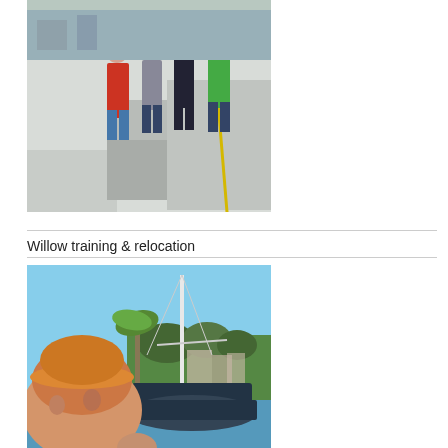[Figure (photo): Four people standing on the deck of a white motorboat/catamaran. Three women and one man in green shirt. The boat has a white hull with various deck equipment visible.]
Willow training & relocation
[Figure (photo): Person taking a selfie on a sailboat docked in a marina. The sailboat has a tall white mast and dark canvas cover. A palm tree and green vegetation visible in the background under a blue sky.]